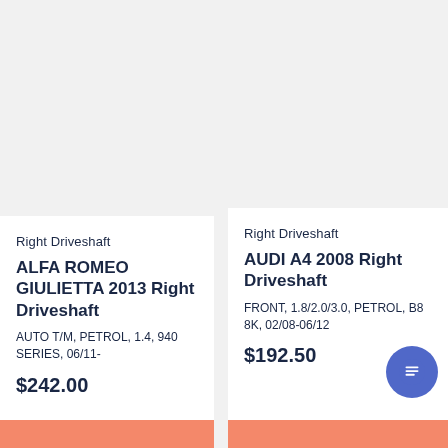Right Driveshaft
ALFA ROMEO GIULIETTA 2013 Right Driveshaft
AUTO T/M, PETROL, 1.4, 940 SERIES, 06/11-
$242.00
Right Driveshaft
AUDI A4 2008 Right Driveshaft
FRONT, 1.8/2.0/3.0, PETROL, B8 8K, 02/08-06/12
$192.50